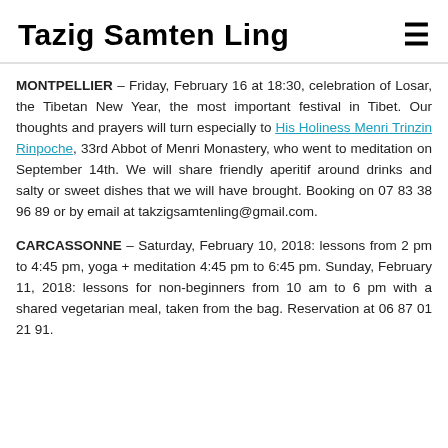Tazig Samten Ling
MONTPELLIER – Friday, February 16 at 18:30, celebration of Losar, the Tibetan New Year, the most important festival in Tibet. Our thoughts and prayers will turn especially to His Holiness Menri Trinzin Rinpoche, 33rd Abbot of Menri Monastery, who went to meditation on September 14th. We will share friendly aperitif around drinks and salty or sweet dishes that we will have brought. Booking on 07 83 38 96 89 or by email at takzigsamtenling@gmail.com.
CARCASSONNE – Saturday, February 10, 2018: lessons from 2 pm to 4:45 pm, yoga + meditation 4:45 pm to 6:45 pm. Sunday, February 11, 2018: lessons for non-beginners from 10 am to 6 pm with a shared vegetarian meal, taken from the bag. Reservation at 06 87 01 21 91.